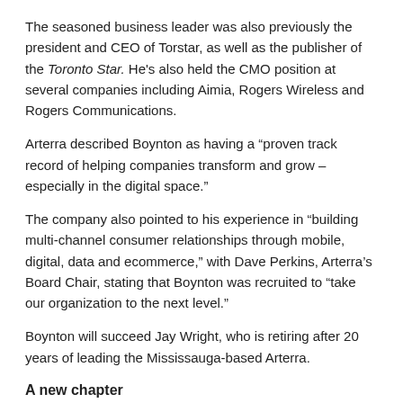The seasoned business leader was also previously the president and CEO of Torstar, as well as the publisher of the Toronto Star. He's also held the CMO position at several companies including Aimia, Rogers Wireless and Rogers Communications.
Arterra described Boynton as having a “proven track record of helping companies transform and grow – especially in the digital space.”
The company also pointed to his experience in “building multi-channel consumer relationships through mobile, digital, data and ecommerce,” with Dave Perkins, Arterra’s Board Chair, stating that Boynton was recruited to “take our organization to the next level.”
Boynton will succeed Jay Wright, who is retiring after 20 years of leading the Mississauga-based Arterra.
A new chapter
And just like that, Northern Reflections has a trio of new leaders at the helm.